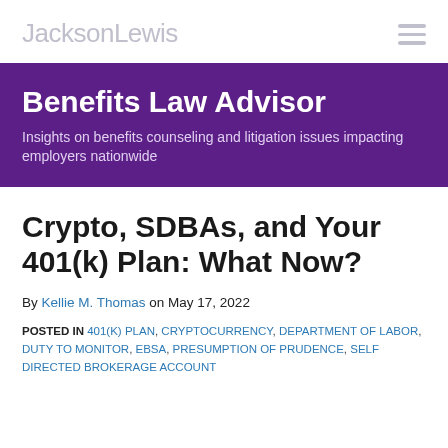JacksonLewis
Benefits Law Advisor
Insights on benefits counseling and litigation issues impacting employers nationwide
Crypto, SDBAs, and Your 401(k) Plan: What Now?
By Kellie M. Thomas on May 17, 2022
POSTED IN 401(K) PLAN, CRYPTOCURRENCY, DEPARTMENT OF LABOR, DUTY TO MONITOR, EBSA, PRESUMPTION OF PRUDENCE, SELF DIRECTED BROKERAGE ACCOUNT